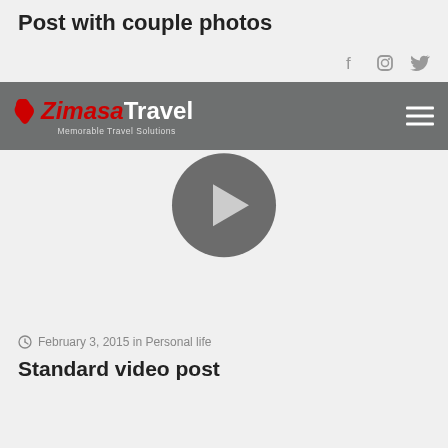Post with couple photos
[Figure (logo): Zimasa Travel logo with red Africa icon and white text on grey navigation bar, with play button circle overlay and hamburger menu]
February 3, 2015 in Personal life
Standard video post